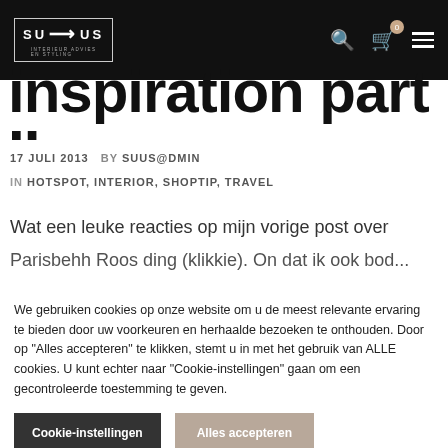SU→US INTERIEUR ADVIES EN STYLING
inspiration part II
17 JULI 2013   BY SUUS@DMIN
IN HOTSPOT, INTERIOR, SHOPTIP, TRAVEL
Wat een leuke reacties op mijn vorige post over
We gebruiken cookies op onze website om u de meest relevante ervaring te bieden door uw voorkeuren en herhaalde bezoeken te onthouden. Door op "Alles accepteren" te klikken, stemt u in met het gebruik van ALLE cookies. U kunt echter naar "Cookie-instellingen" gaan om een gecontroleerde toestemming te geven.
Cookie-instellingen
Alles accepteren